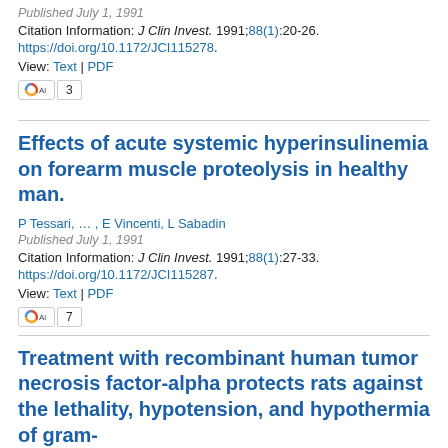Published July 1, 1991
Citation Information: J Clin Invest. 1991;88(1):20-26.
https://doi.org/10.1172/JCI115278.
View: Text | PDF
[Figure (other): Altmetric badge showing score of 3]
Effects of acute systemic hyperinsulinemia on forearm muscle proteolysis in healthy man.
P Tessari, … , E Vincenti, L Sabadin
Published July 1, 1991
Citation Information: J Clin Invest. 1991;88(1):27-33.
https://doi.org/10.1172/JCI115287.
View: Text | PDF
[Figure (other): Altmetric badge showing score of 7]
Treatment with recombinant human tumor necrosis factor-alpha protects rats against the lethality, hypotension, and hypothermia of gram-